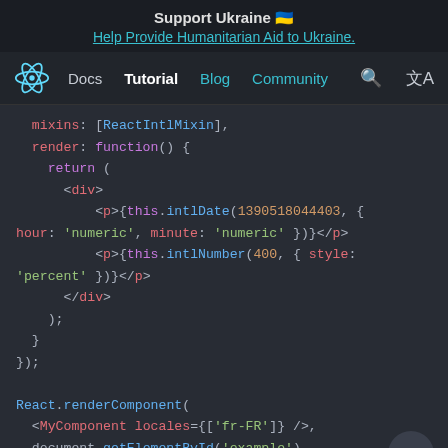Support Ukraine 🇺🇦
Help Provide Humanitarian Aid to Ukraine.
Docs  Tutorial  Blog  Community
[Figure (screenshot): React documentation code snippet showing mixins, render function with JSX including intlDate and intlNumber calls, and React.renderComponent usage with MyComponent and locales prop]
mixins: [ReactIntlMixin],
  render: function() {
    return (
      <div>
          <p>{this.intlDate(1390518044403, {
hour: 'numeric', minute: 'numeric' })}</p>
          <p>{this.intlNumber(400, { style:
'percent' })}</p>
      </div>
    );
  }
});

React.renderComponent(
  <MyComponent locales={['fr-FR']} />,
  document.getElementById('example')
);